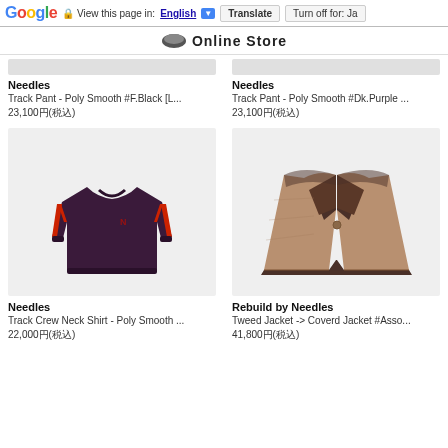Google | View this page in: English [▼] | Translate | Turn off for: Ja
Online Store
[Figure (screenshot): Gray placeholder image bar for Needles Track Pant F.Black]
Needles
Track Pant - Poly Smooth #F.Black [L...
23,100円(税込)
[Figure (screenshot): Gray placeholder image bar for Needles Track Pant Dk.Purple]
Needles
Track Pant - Poly Smooth #Dk.Purple ...
23,100円(税込)
[Figure (photo): Dark purple sweatshirt with red side stripes on gray background]
Needles
Track Crew Neck Shirt - Poly Smooth ...
22,000円(税込)
[Figure (photo): Brown tweed jacket with dark collar/lapel detail on gray background]
Rebuild by Needles
Tweed Jacket -> Coverd Jacket #Asso...
41,800円(税込)